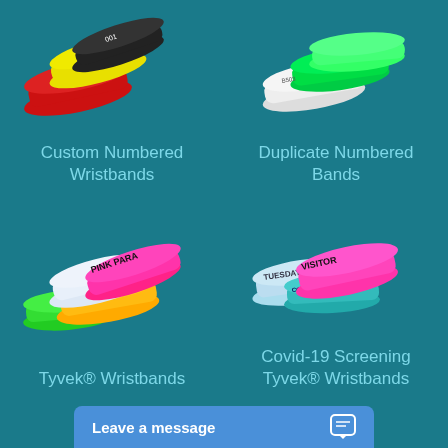[Figure (photo): Custom Numbered Wristbands - colorful wristbands (red, yellow, black) stacked together]
Custom Numbered Wristbands
[Figure (photo): Duplicate Numbered Bands - green and white wristbands stacked together]
Duplicate Numbered Bands
[Figure (photo): Tyvek Wristbands - pink, green, orange, white wristbands including Pink Parade label]
Tyvek® Wristbands
[Figure (photo): Covid-19 Screening Tyvek Wristbands - bands labeled TUESDAY, VISITOR, COVID-19 in various colors]
Covid-19 Screening Tyvek® Wristbands
Leave a message